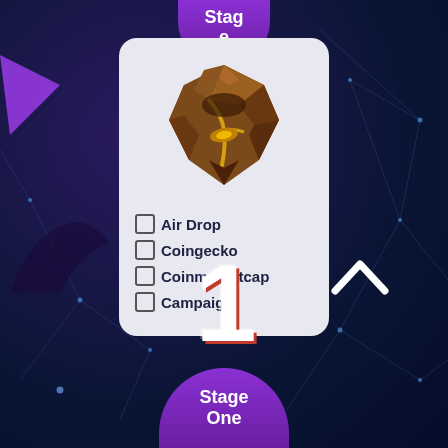Stage
[Figure (illustration): A bronze/brown rocky mineral or gem shaped like a shield/heart with golden cracks, displayed on a light gray card]
☑ Air Drop
☑ Coingecko
☑ Coinmarketcap
☑ Campaign
1
Stage One